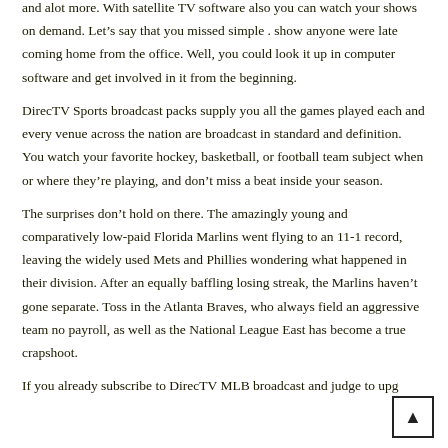and alot more. With satellite TV software also you can watch your shows on demand. Let’s say that you missed simple . show anyone were late coming home from the office. Well, you could look it up in computer software and get involved in it from the beginning.
DirecTV Sports broadcast packs supply you all the games played each and every venue across the nation are broadcast in standard and definition. You watch your favorite hockey, basketball, or football team subject when or where they’re playing, and don’t miss a beat inside your season.
The surprises don’t hold on there. The amazingly young and comparatively low-paid Florida Marlins went flying to an 11-1 record, leaving the widely used Mets and Phillies wondering what happened in their division. After an equally baffling losing streak, the Marlins haven’t gone separate. Toss in the Atlanta Braves, who always field an aggressive team no payroll, as well as the National League East has become a true crapshoot.
If you already subscribe to DirecTV MLB broadcast and judge to upg…